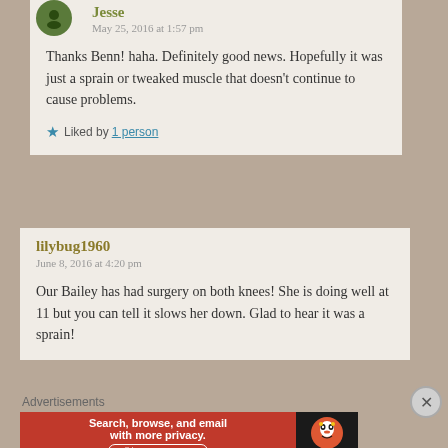Jesse
May 25, 2016 at 1:57 pm
Thanks Benn! haha. Definitely good news. Hopefully it was just a sprain or tweaked muscle that doesn't continue to cause problems.
Liked by 1 person
lilybug1960
June 8, 2016 at 4:20 pm
Our Bailey has had surgery on both knees! She is doing well at 11 but you can tell it slows her down. Glad to hear it was a sprain!
Advertisements
[Figure (screenshot): DuckDuckGo advertisement banner: Search, browse, and email with more privacy. All in One Free App]